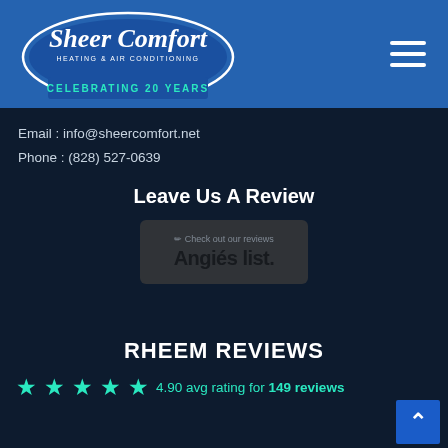Sheer Comfort Heating & Air Conditioning — Celebrating 20 Years
Email : info@sheercomfort.net
Phone : (828) 527-0639
Leave Us A Review
[Figure (logo): Angie's List badge — Check out our reviews on Angie's list.]
RHEEM REVIEWS
4.90 avg rating for 149 reviews